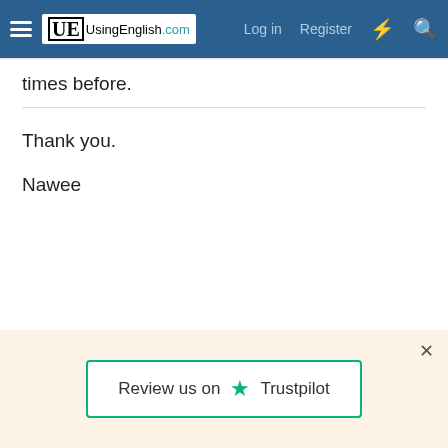UsingEnglish.com — Log in   Register
times before.
Thank you.
Nawee
Review us on Trustpilot